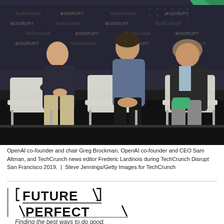[Figure (photo): Three men sitting in white chairs on a stage at TechCrunch Disrupt San Francisco 2019. The backdrop shows repeated TechCrunch and DISRUPT logos. From left: Greg Brockman, Sam Altman, and Frederic Lardinois.]
OpenAI co-founder and chair Greg Brockman, OpenAI co-founder and CEO Sam Altman, and TechCrunch news editor Frederic Lardinois during TechCrunch Disrupt San Francisco 2019.  |  Steve Jennings/Getty Images for TechCrunch
[Figure (logo): FUTURE PERFECT logo in bold angular/techno typeface with bracket and slash decorations]
Finding the best ways to do good.